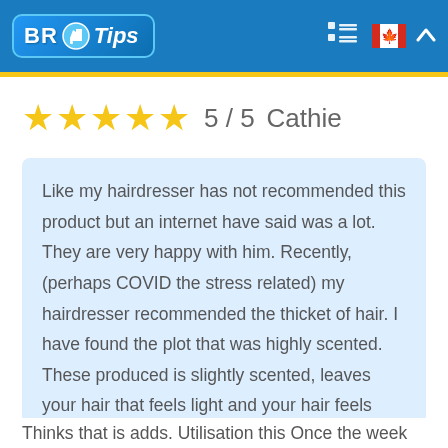BR Tips
5 / 5   Cathie
Like my hairdresser has not recommended this product but an internet have said was a lot. They are very happy with him. Recently, (perhaps COVID the stress related) my hairdresser recommended the thicket of hair. I have found the plot that was highly scented. These produced is slightly scented, leaves your hair that feels light and your hair feels entirely normal afterwards.

Thinks that is adds. Utilisation this Once the week